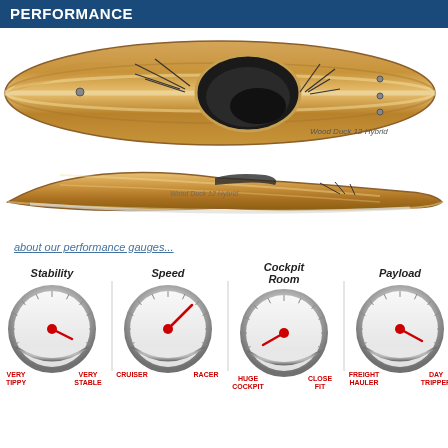PERFORMANCE
[Figure (photo): Top-down view of a wooden kayak labeled 'Wood Duck 12 Hybrid' with cockpit visible]
[Figure (photo): Side profile view of the same wooden kayak]
about our performance gauges...
[Figure (infographic): Four gauge dials showing Stability (needle pointing low-middle), Speed (needle pointing upper-right), Cockpit Room (needle pointing low-left), and Payload (needle pointing low-right) with labels: VERY TIPPY / VERY STABLE, CRUISER / RACER, HUGE COCKPIT / CLOSE FIT, FREIGHT HAULER / DAY TRIPPER]